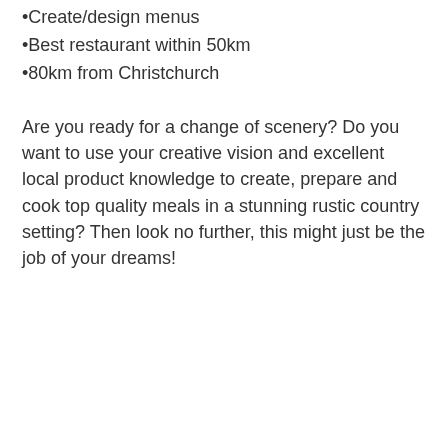•Create/design menus
•Best restaurant within 50km
•80km from Christchurch
Are you ready for a change of scenery? Do you want to use your creative vision and excellent local product knowledge to create, prepare and cook top quality meals in a stunning rustic country setting? Then look no further, this might just be the job of your dreams!